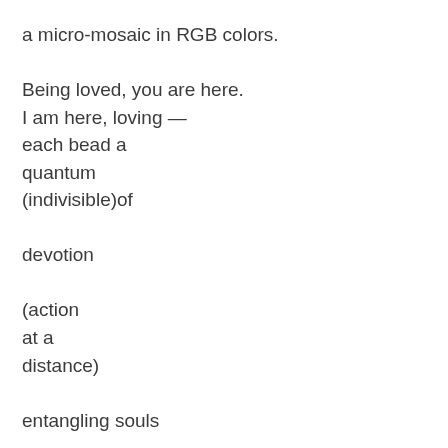a micro-mosaic in RGB colors.

Being loved, you are here.
I am here, loving —
each bead a
quantum
(indivisible)of

devotion

(action
at a
distance)

entangling souls

No un-
(cloud of
unknowing)